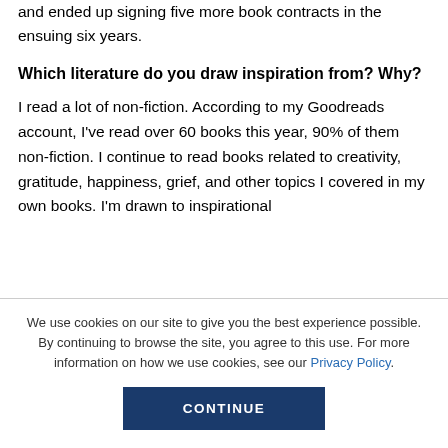and ended up signing five more book contracts in the ensuing six years.
Which literature do you draw inspiration from? Why?
I read a lot of non-fiction. According to my Goodreads account, I've read over 60 books this year, 90% of them non-fiction. I continue to read books related to creativity, gratitude, happiness, grief, and other topics I covered in my own books. I'm drawn to inspirational
We use cookies on our site to give you the best experience possible. By continuing to browse the site, you agree to this use. For more information on how we use cookies, see our Privacy Policy.
CONTINUE